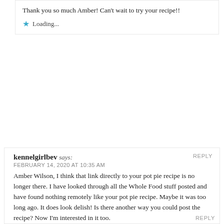Thank you so much Amber! Can't wait to try your recipe!!
Loading...
REPLY
kennelgirlbev says:
FEBRUARY 14, 2020 AT 10:35 AM
Amber Wilson, I think that link directly to your pot pie recipe is no longer there. I have looked through all the Whole Food stuff posted and have found nothing remotely like your pot pie recipe. Maybe it was too long ago. It does look delish! Is there another way you could post the recipe? Now I'm interested in it too.
Loading...
REPLY